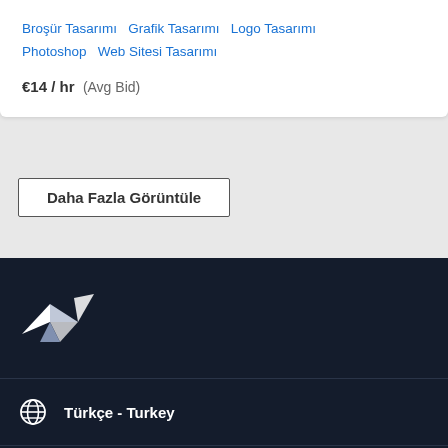Broşür Tasarımı  Grafik Tasarımı  Logo Tasarımı  Photoshop  Web Sitesi Tasarımı
€14 / hr  (Avg Bid)
Daha Fazla Görüntüle
[Figure (logo): Freelancer bird logo icon in white on dark navy background]
Türkçe - Turkey
Yardım ve Destek